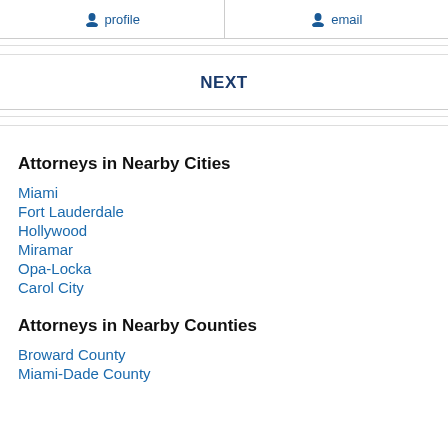profile | email
NEXT
Attorneys in Nearby Cities
Miami
Fort Lauderdale
Hollywood
Miramar
Opa-Locka
Carol City
Attorneys in Nearby Counties
Broward County
Miami-Dade County